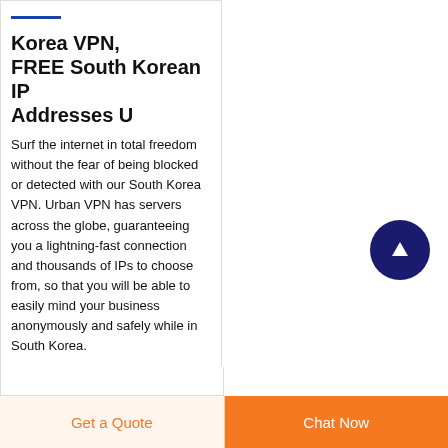Korea VPN, FREE South Korean IP Addresses U
Surf the internet in total freedom without the fear of being blocked or detected with our South Korea VPN. Urban VPN has servers across the globe, guaranteeing you a lightning-fast connection and thousands of IPs to choose from, so that you will be able to easily mind your business anonymously and safely while in South Korea.
[Figure (illustration): Dark navy blue circular button with white upward arrow icon, used as a scroll-to-top button]
Get a Quote
Chat Now